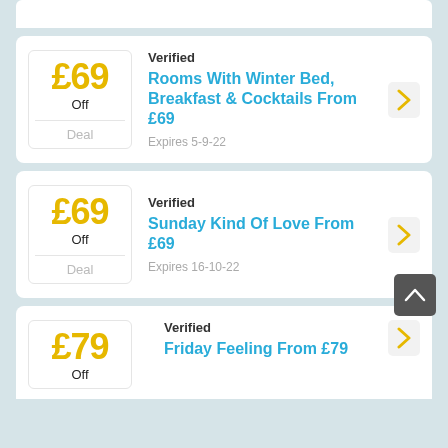£69 Off Deal — Verified — Rooms With Winter Bed, Breakfast & Cocktails From £69 — Expires 5-9-22
£69 Off Deal — Verified — Sunday Kind Of Love From £69 — Expires 16-10-22
£79 Off Deal — Verified — Friday Feeling From £79